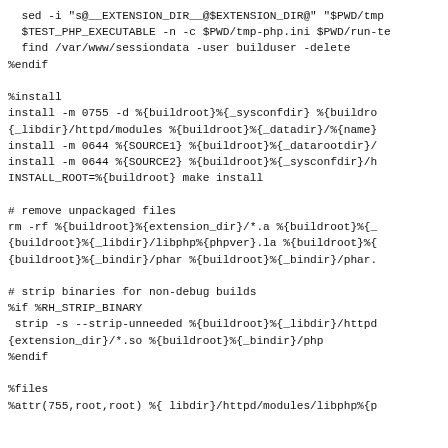sed -i "s@__EXTENSION_DIR__@$EXTENSION_DIR@" "$PWD/tmp
  $TEST_PHP_EXECUTABLE -n -c $PWD/tmp-php.ini $PWD/run-te
  find /var/www/sessiondata -user builduser -delete
%endif

%install
install -m 0755 -d %{buildroot}%{_sysconfdir} %{buildro
{_libdir}/httpd/modules %{buildroot}%{_datadir}/%{name}
install -m 0644 %{SOURCE1} %{buildroot}%{_datarootdir}/
install -m 0644 %{SOURCE2} %{buildroot}%{_sysconfdir}/h
INSTALL_ROOT=%{buildroot} make install

# remove unpackaged files
rm -rf %{buildroot}%{extension_dir}/*.a %{buildroot}%{_
{buildroot}%{_libdir}/libphp%{phpver}.la %{buildroot}%{
{buildroot}%{_bindir}/phar %{buildroot}%{_bindir}/phar.

# strip binaries for non-debug builds
%if %RH_STRIP_BINARY
 strip -s --strip-unneeded %{buildroot}%{_libdir}/httpd
{extension_dir}/*.so %{buildroot}%{_bindir}/php
%endif

%files
%attr(755,root,root) %{ libdir}/httpd/modules/libphp%{p